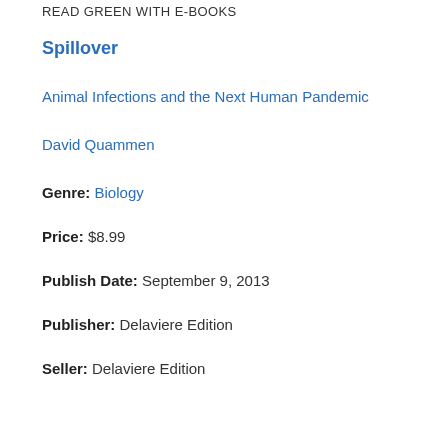READ GREEN WITH E-BOOKS
Spillover
Animal Infections and the Next Human Pandemic
David Quammen
Genre: Biology
Price: $8.99
Publish Date: September 9, 2013
Publisher: Delaviere Edition
Seller: Delaviere Edition